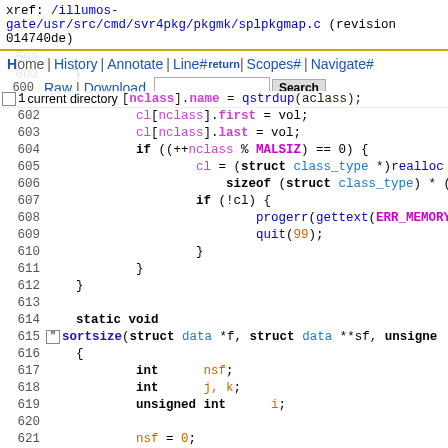xref: /illumos-gate/usr/src/cmd/svr4pkg/pkgmk/splpkgmap.c (revision 014740de)
Home | History | Annotate | Line# | Scopes# | Navigate# | Raw | Download  [Search]
return
[Figure (screenshot): Navigation bar with Home, History, Annotate, Line#, Scopes#, Navigate#, Raw, Download links and search box]
current directory
599
600
601  cl[nclass].name = qstrdup(aclass);
602              cl[nclass].first = vol;
603              cl[nclass].last = vol;
604              if ((++nclass % MALSIZ) == 0) {
605                      cl = (struct class_type *)realloc
606                              sizeof (struct class_type) * 
607                      if (!cl) {
608                              progerr(gettext(ERR_MEMORY
609                              quit(99);
610                      }
611              }
612      }
613
614      static void
615  sortsize(struct data *f, struct data **sf, unsigne
616      {
617              int      nsf;
618              int      j, k;
619              unsigned int      i;
620
621              nsf = 0;
622              for (i = 0; i < eptnum; i++) {
623              for (j = 0; j < nsf; ++j) {